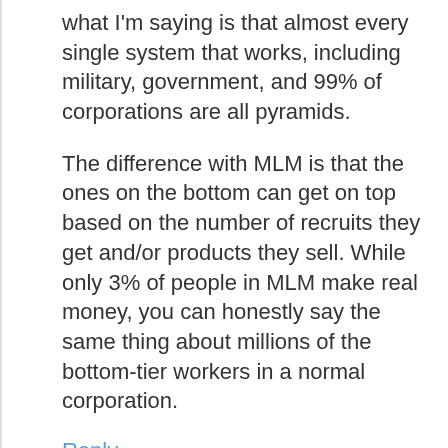what I'm saying is that almost every single system that works, including military, government, and 99% of corporations are all pyramids.
The difference with MLM is that the ones on the bottom can get on top based on the number of recruits they get and/or products they sell. While only 3% of people in MLM make real money, you can honestly say the same thing about millions of the bottom-tier workers in a normal corporation.
Reply